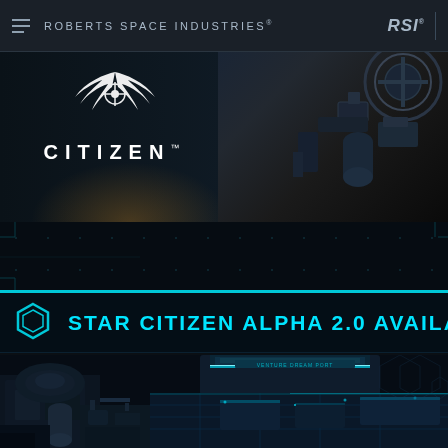ROBERTS SPACE INDUSTRIES®
[Figure (screenshot): Star Citizen banner with emblem/logo showing eagle wings and crosshair symbol above the word CITIZEN with trademark symbol, alongside spacecraft imagery on dark background]
STAR CITIZEN ALPHA 2.0 AVAILA…
[Figure (screenshot): Star Citizen game screenshot showing a futuristic space station interior with spacecraft docked, featuring cyan-lit platforms and industrial science fiction architecture]